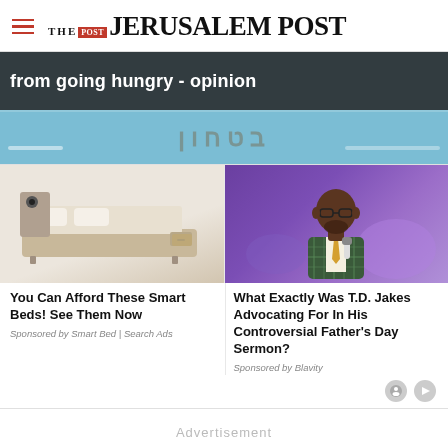THE JERUSALEM POST
[Figure (screenshot): Banner image from Jerusalem Post website with text 'from going hungry - opinion' overlaid on dark background, with Hebrew text partially visible below]
[Figure (photo): Advertisement photo of a multi-function smart bed with speakers, storage drawers, and reclining features on a white background]
You Can Afford These Smart Beds! See Them Now
Sponsored by Smart Bed | Search Ads
[Figure (photo): Advertisement photo of T.D. Jakes speaking into a microphone, wearing a plaid suit jacket, on a purple-lit stage]
What Exactly Was T.D. Jakes Advocating For In His Controversial Father's Day Sermon?
Sponsored by Blavity
Advertisement